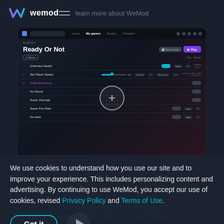wemod — learn more about WeMod
[Figure (screenshot): WeMod desktop application screenshot showing 'Ready Or Not' game with cheat options including Unlimited Health, Set Player Speed, Unlimited Ammo, No Recoil, Super Damage, Super Fire Rate, No Heat. Toggle switches and hotkey bindings visible. A plus circle button overlay is shown in the center.]
Screenshot
We use cookies to understand how you use our site and to improve your experience. This includes personalizing content and advertising. By continuing to use WeMod, you accept our use of cookies, revised Privacy Policy and Terms of Use.
Got it
Unlimited Health · Unlimited Ammo · No Recoil · Set Game